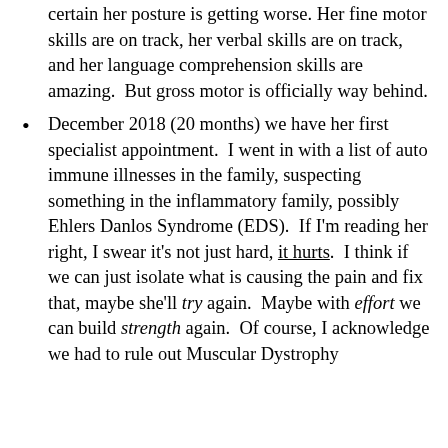certain her posture is getting worse. Her fine motor skills are on track, her verbal skills are on track, and her language comprehension skills are amazing.  But gross motor is officially way behind.
December 2018 (20 months) we have her first specialist appointment.  I went in with a list of auto immune illnesses in the family, suspecting something in the inflammatory family, possibly Ehlers Danlos Syndrome (EDS).  If I'm reading her right, I swear it's not just hard, it hurts.  I think if we can just isolate what is causing the pain and fix that, maybe she'll try again.  Maybe with effort we can build strength again.  Of course, I acknowledge we had to rule out Muscular Dystrophy